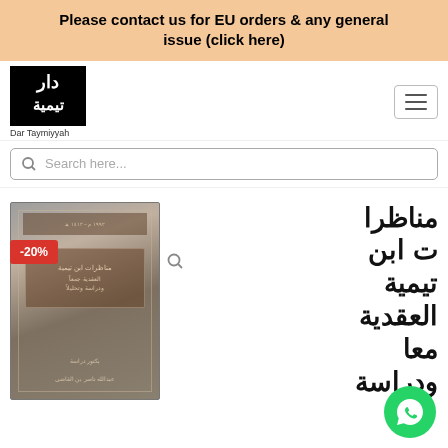Please contact us for EU orders & any general issue (click here)
[Figure (logo): Dar Taymiyyah logo — black square with Arabic calligraphy, text 'Dar Taymiyyah' below]
Search here...
[Figure (photo): Book cover photo with -20% discount badge. Arabic book on Ibn Taymiyyah's theological debates.]
مناظرات ابن تيمية العقدية معا ودراسة